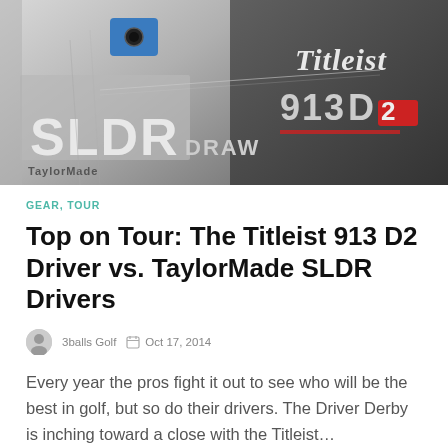[Figure (photo): Close-up photo of two golf drivers side by side: TaylorMade SLDR driver on the left showing 'LDR', 'TaylorMade', 'DRAW' markings in white/blue, and Titleist 913 D2 driver on the right in dark gray with 'Titleist' and '913 D2' branding in white and red.]
GEAR, TOUR
Top on Tour: The Titleist 913 D2 Driver vs. TaylorMade SLDR Drivers
3balls Golf   Oct 17, 2014
Every year the pros fight it out to see who will be the best in golf, but so do their drivers. The Driver Derby is inching toward a close with the Titleist…